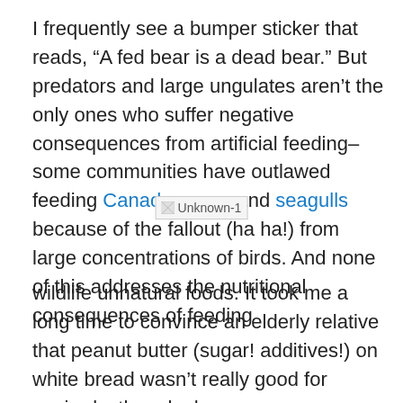I frequently see a bumper sticker that reads, “A fed bear is a dead bear.” But predators and large ungulates aren’t the only ones who suffer negative consequences from artificial feeding–some communities have outlawed feeding Canada geese and seagulls because of the fallout (ha ha!) from large concentrations of birds. And none of this addresses the nutritional consequences of feeding
[Figure (other): Broken image placeholder labeled 'Unknown-1']
wildlife unnatural foods. It took me a long time to convince an elderly relative that peanut butter (sugar! additives!) on white bread wasn’t really good for squirrels, though she